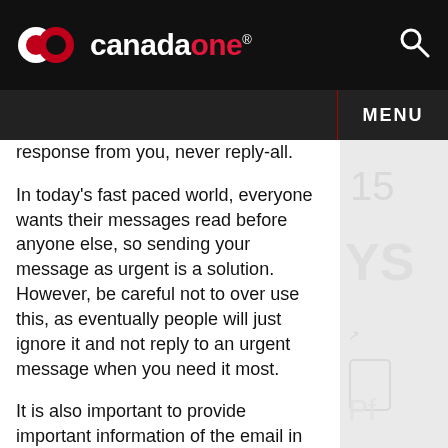canadaone
response from you, never reply-all.
In today's fast paced world, everyone wants their messages read before anyone else, so sending your message as urgent is a solution. However, be careful not to over use this, as eventually people will just ignore it and not reply to an urgent message when you need it most.
It is also important to provide important information of the email in the subject line, as it will make it more likely important emails are read.
Two more tips to use when emailing, is to never use ALL CAPS, this is the equivalent of shouting at someone in a face to face or phone conversation